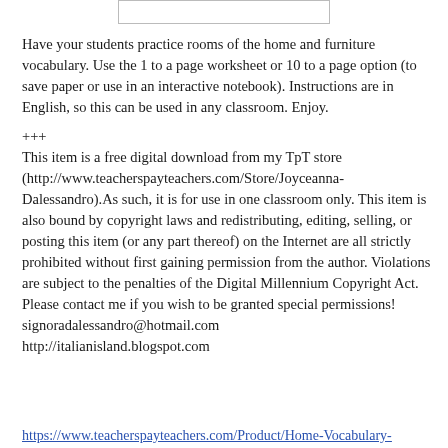[Figure (other): A white rectangle box at the top of the page, possibly a cut-off image or header graphic]
Have your students practice rooms of the home and furniture vocabulary. Use the 1 to a page worksheet or 10 to a page option (to save paper or use in an interactive notebook). Instructions are in English, so this can be used in any classroom. Enjoy.
+++
This item is a free digital download from my TpT store (http://www.teacherspayteachers.com/Store/Joyceanna-Dalessandro).As such, it is for use in one classroom only. This item is also bound by copyright laws and redistributing, editing, selling, or posting this item (or any part thereof) on the Internet are all strictly prohibited without first gaining permission from the author. Violations are subject to the penalties of the Digital Millennium Copyright Act. Please contact me if you wish to be granted special permissions!
signoradalessandro@hotmail.com
http://italianisland.blogspot.com
https://www.teacherspayteachers.com/Product/Home-Vocabulary-